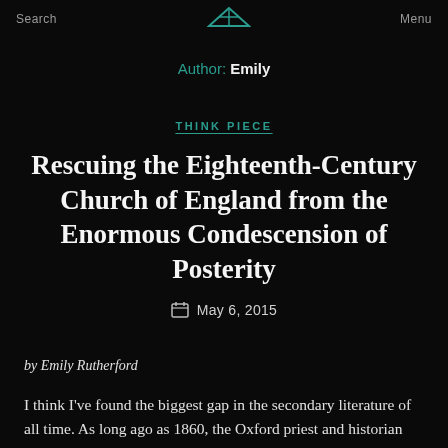Search   Menu
Author: Emily
THINK PIECE
Rescuing the Eighteenth-Century Church of England from the Enormous Condescension of Posterity
May 6, 2015
by Emily Rutherford
I think I've found the biggest gap in the secondary literature of all time. As long ago as 1860, the Oxford priest and historian Mark Pattison noticed that